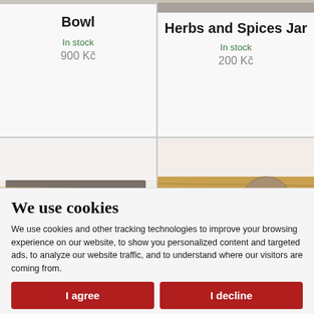Bowl
In stock
900 Kč
Herbs and Spices Jar
In stock
200 Kč
[Figure (photo): Product image placeholder - pottery/stone item bottom left]
[Figure (photo): Product image placeholder - round food item bottom right]
We use cookies
We use cookies and other tracking technologies to improve your browsing experience on our website, to show you personalized content and targeted ads, to analyze our website traffic, and to understand where our visitors are coming from.
I agree
I decline